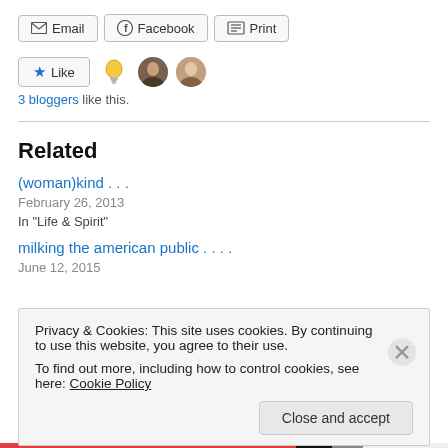[Figure (screenshot): Share buttons row: Email, Facebook, Print]
[Figure (screenshot): Like button with star icon, lightbulb avatar, and two person avatars. Text: 3 bloggers like this.]
Related
(woman)kind . . .
February 26, 2013
In "Life & Spirit"
milking the american public . . . .
June 12, 2015
Privacy & Cookies: This site uses cookies. By continuing to use this website, you agree to their use.
To find out more, including how to control cookies, see here: Cookie Policy